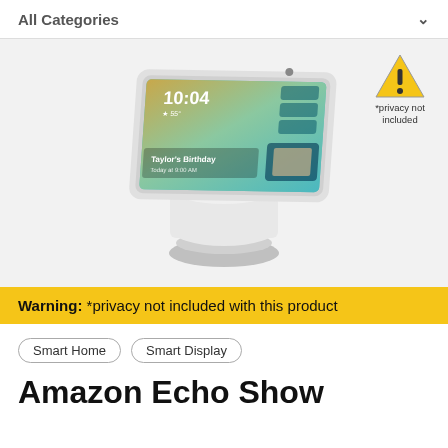All Categories
[Figure (photo): Amazon Echo Show 10 smart display device in white/sandstone color, shown at an angle with screen displaying time 10:04 and Taylor's Birthday reminder. A warning triangle badge with '*privacy not included' text appears in the top right corner of the image area.]
Warning: *privacy not included with this product
Smart Home
Smart Display
Amazon Echo Show